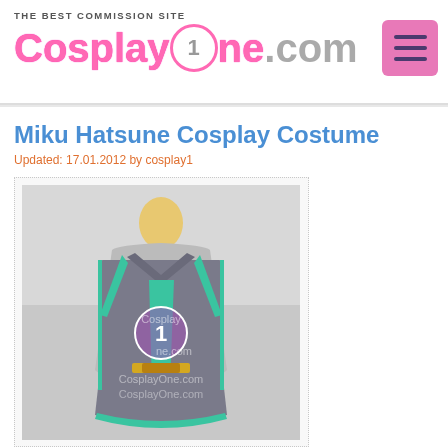[Figure (logo): CosplayOne.com logo with tagline 'THE BEST COMMISSION SITE' and hamburger menu button in pink]
Miku Hatsune Cosplay Costume
Updated: 17.01.2012 by cosplay1
[Figure (photo): Photo of a Miku Hatsune cosplay costume on a mannequin — grey sleeveless halter dress with teal/green trim and necktie, with CosplayOne.com watermark]